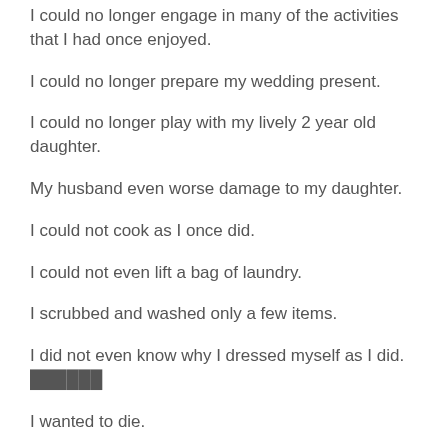I could no longer engage in many of the activities that I had once enjoyed.
I could no longer prepare my wedding present.
I could no longer play with my lively 2 year old daughter.
My husband even worse damage to my daughter.
I could not cook as I once did.
I could not even lift a bag of laundry.
I scrubbed and washed only a few items.
I did not even know why I dressed myself as I did. ██████
I wanted to die.
The...